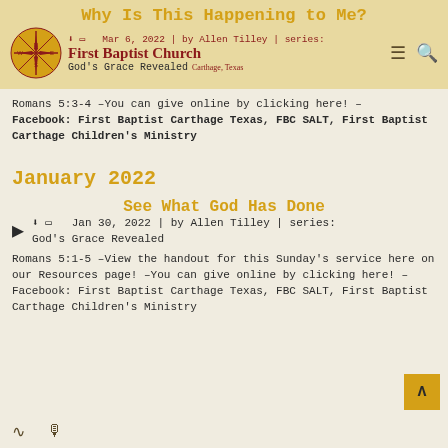Why Is This Happening to Me?
Mar 6, 2022 | by Allen Tilley | series: God's Grace Revealed — First Baptist Church, Carthage, Texas
Romans 5:3-4 –You can give online by clicking here! – Facebook: First Baptist Carthage Texas, FBC SALT, First Baptist Carthage Children's Ministry
January 2022
See What God Has Done
Jan 30, 2022 | by Allen Tilley | series: God's Grace Revealed
Romans 5:1-5 –View the handout for this Sunday's service here on our Resources page! –You can give online by clicking here! –Facebook: First Baptist Carthage Texas, FBC SALT, First Baptist Carthage Children's Ministry